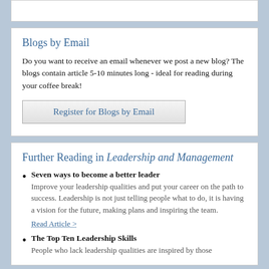Blogs by Email
Do you want to receive an email whenever we post a new blog? The blogs contain article 5-10 minutes long - ideal for reading during your coffee break!
Register for Blogs by Email
Further Reading in Leadership and Management
Seven ways to become a better leader
Improve your leadership qualities and put your career on the path to success. Leadership is not just telling people what to do, it is having a vision for the future, making plans and inspiring the team.
Read Article >
The Top Ten Leadership Skills
People who lack leadership qualities are inspired by those